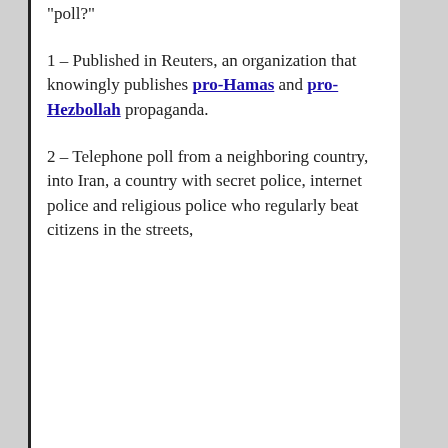“poll?”
1 – Published in Reuters, an organization that knowingly publishes pro-Hamas and pro-Hezbollah propaganda.
2 – Telephone poll from a neighboring country, into Iran, a country with secret police, internet police and religious police who regularly beat citizens in the streets,